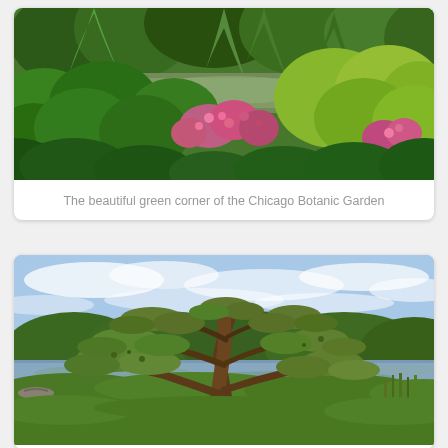[Figure (photo): Lush green garden scene with dense leafy trees, shrubs, and pink flowers in the foreground, with a calm pond partially visible in the background. Chicago Botanic Garden.]
The beautiful green corner of the Chicago Botanic Garden
[Figure (photo): A large, dramatically shaped bonsai-style pine tree with spreading horizontal branches in front of a calm lake, with green trees in the background. Chicago Botanic Garden Japanese garden area.]